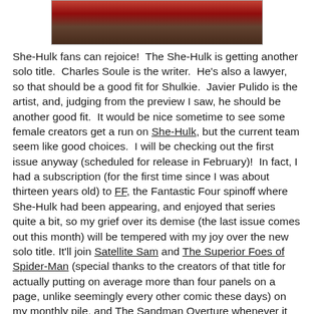[Figure (photo): Partial view of a comic book cover with red and dark brown tones, cropped at the top of the page.]
She-Hulk fans can rejoice!  The She-Hulk is getting another solo title.  Charles Soule is the writer.  He's also a lawyer, so that should be a good fit for Shulkie.  Javier Pulido is the artist, and, judging from the preview I saw, he should be another good fit.  It would be nice sometime to see some female creators get a run on She-Hulk, but the current team seem like good choices.  I will be checking out the first issue anyway (scheduled for release in February)!  In fact, I had a subscription (for the first time since I was about thirteen years old) to FF, the Fantastic Four spinoff where She-Hulk had been appearing, and enjoyed that series quite a bit, so my grief over its demise (the last issue comes out this month) will be tempered with my joy over the new solo title.  It'll join Satellite Sam and The Superior Foes of Spider-Man (special thanks to the creators of that title for actually putting on average more than four panels on a page, unlike seemingly every other comic these days) on my monthly pile, and The Sandman Overture whenever it comes out (no, I normally don't restrict my comics reading to titles that being with "S"; that's just a coincidence).  I've also been reading